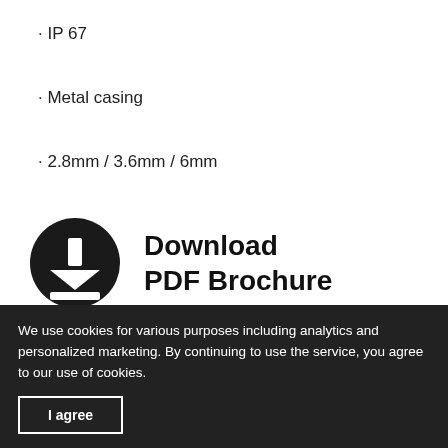• IP 67
• Metal casing
• 2.8mm / 3.6mm / 6mm
[Figure (illustration): Download PDF Brochure button with download icon (dark circle with white downward arrow) and bold text 'Download PDF Brochure']
We use cookies for various purposes including analytics and personalized marketing. By continuing to use the service, you agree to our use of cookies.
I agree